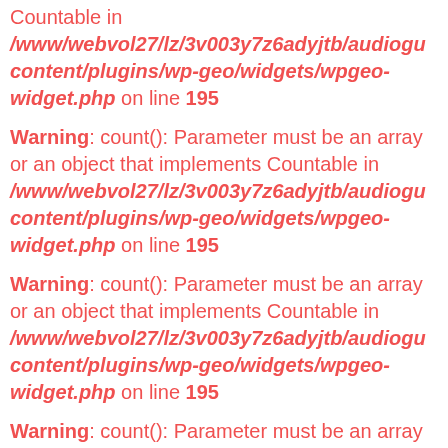Countable in /www/webvol27/lz/3v003y7z6adyjtb/audiogu content/plugins/wp-geo/widgets/wpgeo-widget.php on line 195
Warning: count(): Parameter must be an array or an object that implements Countable in /www/webvol27/lz/3v003y7z6adyjtb/audiogu content/plugins/wp-geo/widgets/wpgeo-widget.php on line 195
Warning: count(): Parameter must be an array or an object that implements Countable in /www/webvol27/lz/3v003y7z6adyjtb/audiogu content/plugins/wp-geo/widgets/wpgeo-widget.php on line 195
Warning: count(): Parameter must be an array or an object that implements Countable in /www/webvol27/lz/3v003y7z6adyjtb/audiogu content/plugins/wp-geo/widgets/wpgeo-widget.php on line 195